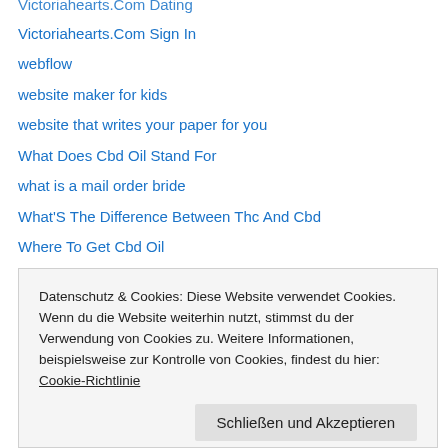Victoriahearts.Com Dating
Victoriahearts.Com Sign In
webflow
website maker for kids
website that writes your paper for you
What Does Cbd Oil Stand For
what is a mail order bride
What'S The Difference Between Thc And Cbd
Where To Get Cbd Oil
wheres the gold
Wife For Sell
Women Mail Order Catalog
write a paper for me
Write An Essay For Me
Datenschutz & Cookies: Diese Website verwendet Cookies. Wenn du die Website weiterhin nutzt, stimmst du der Verwendung von Cookies zu. Weitere Informationen, beispielsweise zur Kontrolle von Cookies, findest du hier: Cookie-Richtlinie
write paper for me
Write Papers For Me